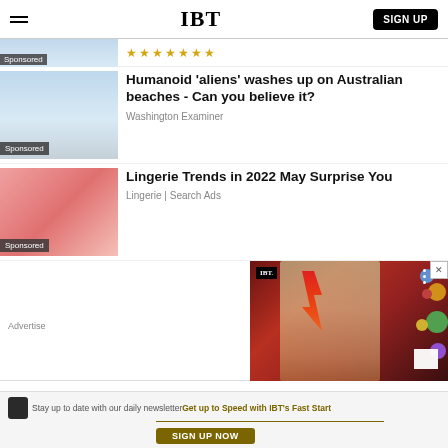IBT  SIGN UP
[Figure (photo): Sponsored ad image with stars rating, beach/coastal scene placeholder with Sponsored tag]
[Figure (photo): Sponsored beach scene image with Sponsored tag]
Humanoid 'aliens' washes up on Australian beaches - Can you believe it?
Washington Examiner
[Figure (photo): Lingerie sponsored ad image with Sponsored tag]
Lingerie Trends in 2022 May Surprise You
Lingerie | Search Ads
[Figure (photo): IBT video player card showing painted face with lightning bolt makeup and colorful planets, with IBT logo and close button]
Advertise
Stay up to date with our daily newsletter
Get up to Speed with IBT's Fast Start
SIGN UP NOW